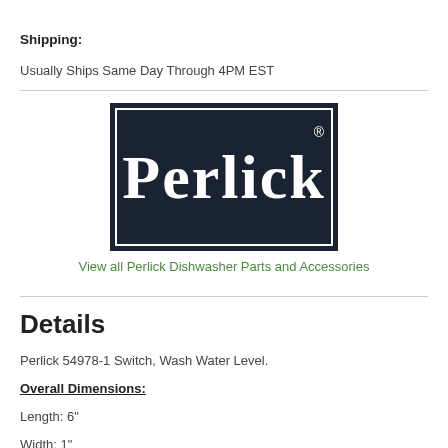Shipping:
Usually Ships Same Day Through 4PM EST
[Figure (logo): Perlick brand logo — white text on dark navy background with double border]
View all Perlick Dishwasher Parts and Accessories
Details
Perlick 54978-1 Switch, Wash Water Level.
Overall Dimensions:
Length: 6"
Width: 1"